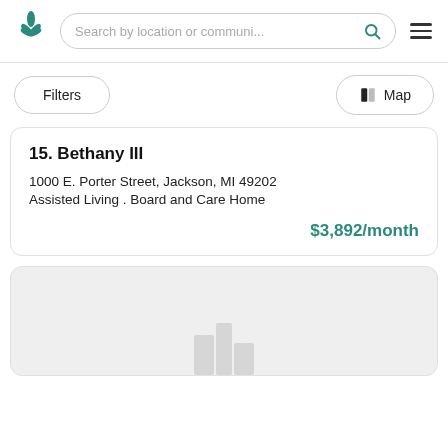[Figure (logo): Green leaf/plant logo icon]
Search by location or communi...
Filters
Map
15. Bethany III
1000 E. Porter Street, Jackson, MI 49202
Assisted Living . Board and Care Home
$3,892/month
[Figure (photo): Gray placeholder image with a faded icon at the bottom]